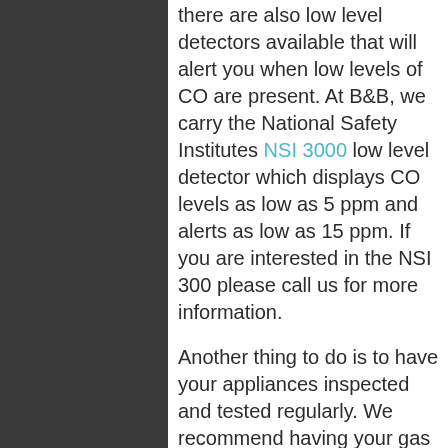there are also low level detectors available that will alert you when low levels of CO are present. At B&B, we carry the National Safety Institutes NSI 3000 low level detector which displays CO levels as low as 5 ppm and alerts as low as 15 ppm.  If you are interested in the NSI 300 please call us for more information.
Another thing to do is to have your appliances inspected and tested regularly.  We recommend having your gas appliances tested yearly by a professional that will perform a complete combustion analysis.  This test will show exactly how